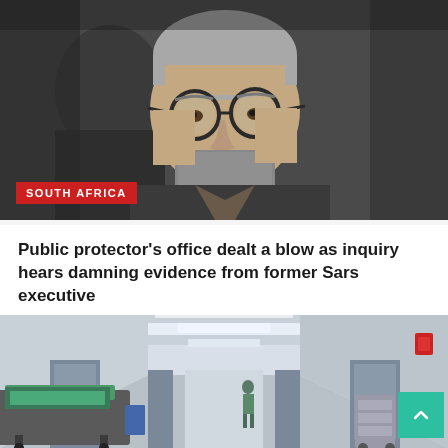[Figure (photo): Close-up photo of an older man with round glasses, grey beard and hair, wearing a suit, looking downward seriously. Red 'SOUTH AFRICA' label overlaid at bottom left.]
Public protector's office dealt a blow as inquiry hears damning evidence from former Sars executive
Jul 14, 2022   Mawazo Writing
[Figure (photo): Hospital corridor photo showing a stretcher/gurney in the foreground, a long hallway with fluorescent lighting, a healthcare worker walking in the distance, and a red fire alarm on the wall. A green scroll-to-top button is overlaid at bottom right.]